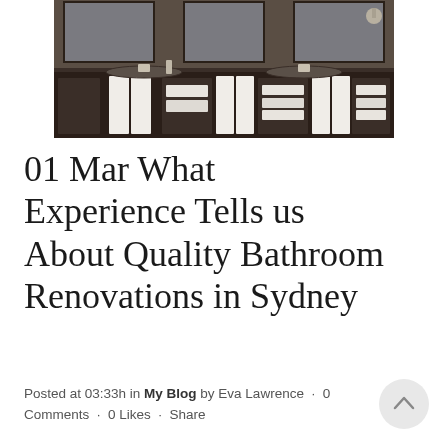[Figure (photo): A luxury bathroom vanity with dark cabinetry, two sinks with mirrors above, white towels hanging on towel bars, and folded towels on open shelves.]
01 Mar What Experience Tells us About Quality Bathroom Renovations in Sydney
Posted at 03:33h in My Blog by Eva Lawrence · 0 Comments · 0 Likes · Share